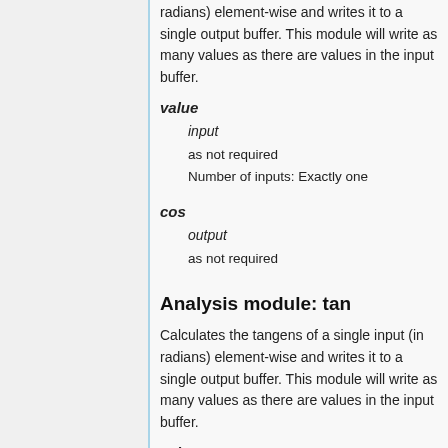radians) element-wise and writes it to a single output buffer. This module will write as many values as there are values in the input buffer.
value
input
as not required
Number of inputs: Exactly one
cos
output
as not required
Analysis module: tan
Calculates the tangens of a single input (in radians) element-wise and writes it to a single output buffer. This module will write as many values as there are values in the input buffer.
value